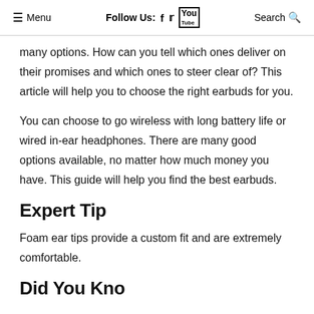≡ Menu   Follow Us: f  🐦  ▶  Search 🔍
many options. How can you tell which ones deliver on their promises and which ones to steer clear of? This article will help you to choose the right earbuds for you.
You can choose to go wireless with long battery life or wired in-ear headphones. There are many good options available, no matter how much money you have. This guide will help you find the best earbuds.
Expert Tip
Foam ear tips provide a custom fit and are extremely comfortable.
Did You Kno...